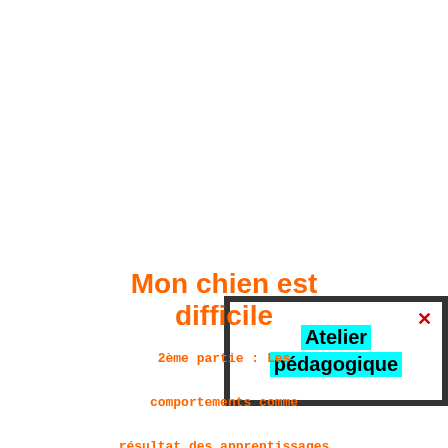[Figure (other): A thick dark-bordered rectangle containing the text 'Atelier pédagogique' with cyan/aqua highlight background, and a red X mark in the top-right corner inside the box.]
Mon chien est difficile
2ème partie : Les comportements comme résultat des apprentissages ?